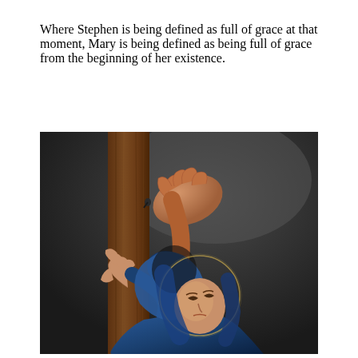Where Stephen is being defined as full of grace at that moment, Mary is being defined as being full of grace from the beginning of her existence.
[Figure (illustration): A religious painting depicting Mary in a blue head covering with a golden halo, kneeling at the foot of the cross, pressing her hand against the wooden cross, looking upward with grief. Above, a hand is nailed to the cross. The background is dark and dramatic.]